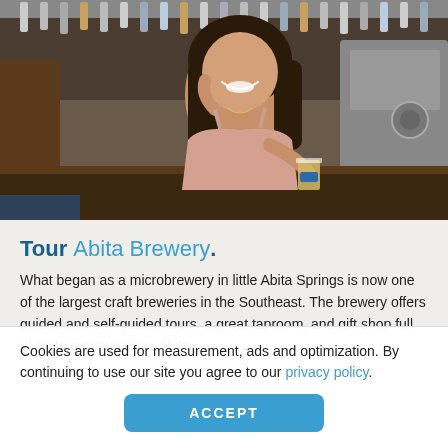[Figure (photo): A smiling woman sitting at a brewery bar holding a glass of beer. Behind her are rows of tap handles and brewery equipment.]
Tour Abita Brewery.
What began as a microbrewery in little Abita Springs is now one of the largest craft breweries in the Southeast. The brewery offers guided and self-guided tours, a great taproom, and gift shop full of Abita merchandise. Abita
Cookies are used for measurement, ads and optimization. By continuing to use our site you agree to our privacy policy.
ACCEPT